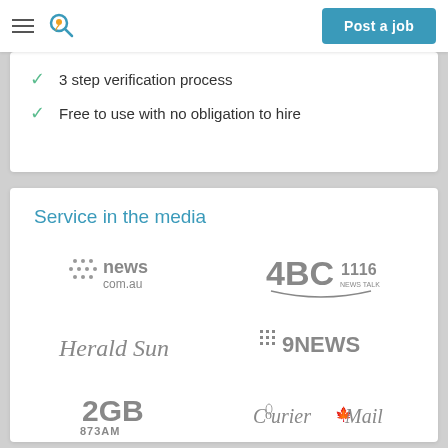Post a job
3 step verification process
Free to use with no obligation to hire
Service in the media
[Figure (logo): news.com.au logo (gray)]
[Figure (logo): 4BC 1116 News Talk radio logo (gray)]
[Figure (logo): Herald Sun newspaper logo (gray italic)]
[Figure (logo): 9News television logo with dot grid (gray)]
[Figure (logo): 2GB 873AM radio logo (gray)]
[Figure (logo): The Courier Mail newspaper logo (gray italic)]